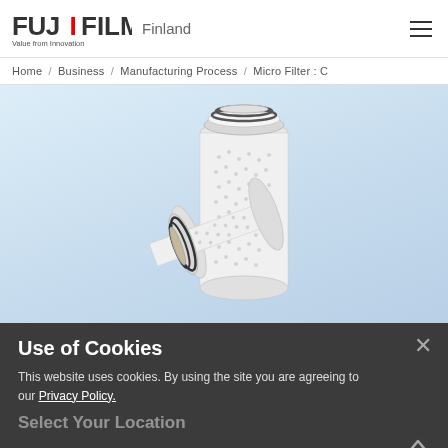FUJIFILM | Finland
Home / Business / Manufacturing Process / Micro Filter : C
[Figure (photo): Two white cylindrical micro filter cartridges on a light blue gradient background. One is tall and vertical, the other is shorter and horizontal/angled.]
Use of Cookies
This website uses cookies. By using the site you are agreeing to our Privacy Policy.
Select Your Location